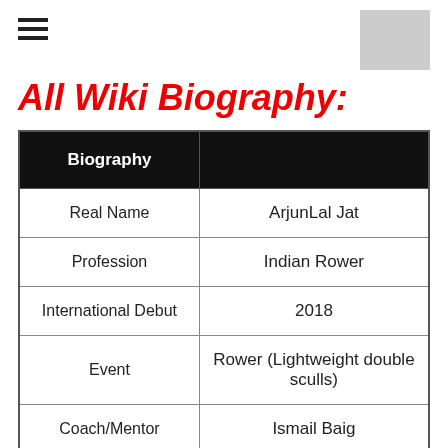All Wiki Biography:
| Biography |  |
| --- | --- |
| Real Name | ArjunLal Jat |
| Profession | Indian Rower |
| International Debut | 2018 |
| Event | Rower (Lightweight double sculls) |
| Coach/Mentor | Ismail Baig |
| Date of Birth | February 7, 1997 (Friday) |